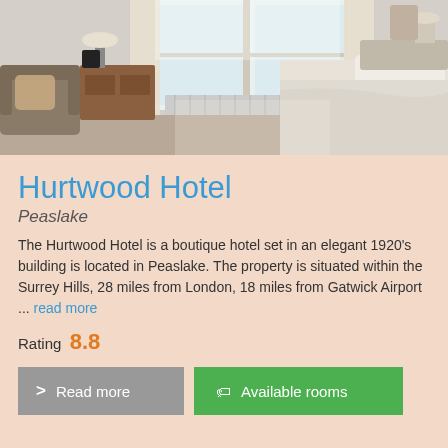[Figure (photo): Hotel room interior showing a bed with white linens, armchairs, a wooden dresser, and a large window with white curtains letting in natural light.]
Hurtwood Hotel
Peaslake
The Hurtwood Hotel is a boutique hotel set in an elegant 1920's building is located in Peaslake. The property is situated within the Surrey Hills, 28 miles from London, 18 miles from Gatwick Airport ... read more
Rating  8.8
Read more
Available rooms